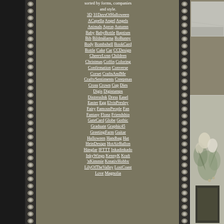sorted by forms, companies and style.
3D 31DaysOfHalloween ACapella Angel Angels Animals Apron Autumn Baby BabyBottle Baptism Bib Bildmålarna BoBunny Body Bombshell BookCard Bottle Cake Car CCDesign CheeryLynn Children Christmas Coffin Coloring Confirmation Converse Corset CraftsAndMe CraftySentiments Creepmas Cross Crown Cup Dies Digis Digistamps DistressInk Dress Easel Easter Egg ElvisPresley Fairy FamousPeople Fan Fantasy Flonz Friendship GateCard Globe Gothic Graduate Graphic45 GreetingFarm Guitar Halloween Handbag Hat HeinDesign HotAirBallon Hänglar IFTTT Inkadinkado InkyWings KennyK Kraft 'nKimmie KreativHobby LilyOfTheValley LostCoast Love Magnolia
[Figure (photo): Partial view of a light colored textured surface, top right]
[Figure (photo): Floral arrangement with pale cream and green flowers/leaves in a dark geometric box]